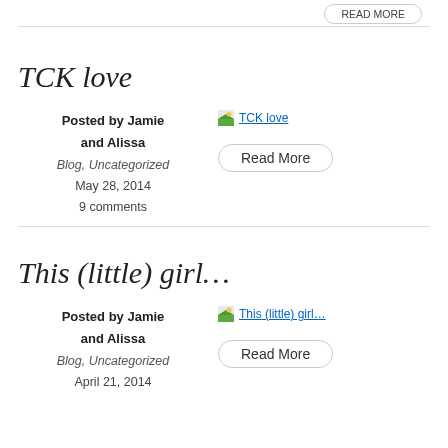READ MORE
TCK love
Posted by Jamie and Alissa
Blog, Uncategorized
May 28, 2014
9 comments
[Figure (photo): TCK love image placeholder]
Read More
This (little) girl…
Posted by Jamie and Alissa
Blog, Uncategorized
April 21, 2014
[Figure (photo): This (little) girl… image placeholder]
Read More